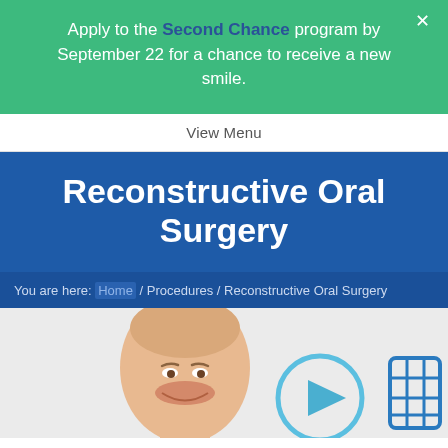Apply to the Second Chance program by September 22 for a chance to receive a new smile.
View Menu
Reconstructive Oral Surgery
You are here: Home / Procedures / Reconstructive Oral Surgery
[Figure (photo): A smiling bald man with a play button icon overlay and a dental/medical icon to the right, on a light gray background.]